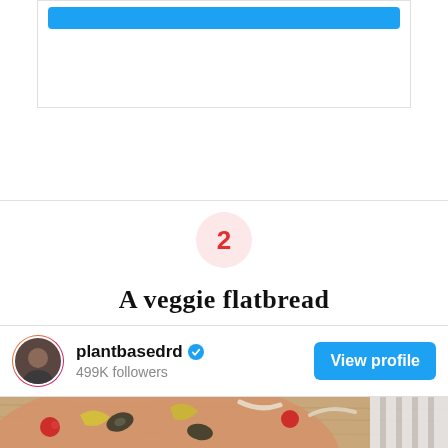[Figure (screenshot): Partial screenshot of a social media card with a blue button bar at the top]
2
A veggie flatbread
[Figure (screenshot): Instagram-style profile card for plantbasedrd with 499K followers and a View profile button]
[Figure (photo): Close-up photo of a veggie flatbread pizza topped with olives, peppers, tomatoes, and onions on a wooden board]